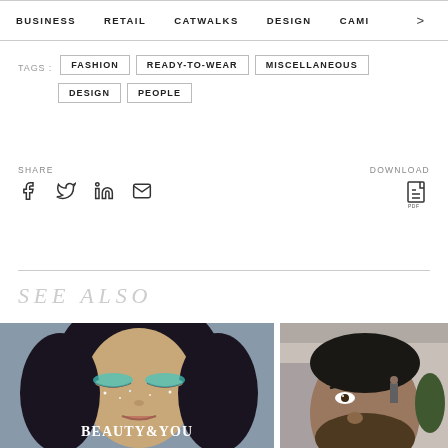BUSINESS   RETAIL   CATWALKS   DESIGN   CAMI >
TAGS: FASHION  READY-TO-WEAR  MISCELLANEOUS  DESIGN  PEOPLE
SHARE
DOWNLOAD
SEE ALSO
[Figure (photo): Woman with blue glitter eye makeup, eyes closed, with BEAUTY&YOU text overlay]
[Figure (photo): Man's face partially visible, outdoor background]